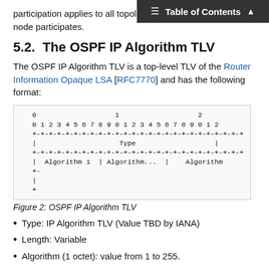Table of Contents
participation applies to all topolo node participates.
5.2. The OSPF IP Algorithm TLV
The OSPF IP Algorithm TLV is a top-level TLV of the Router Information Opaque LSA [RFC7770] and has the following format:
[Figure (schematic): Packet format diagram for OSPF IP Algorithm TLV showing bit layout with columns 0,1,2 and rows for Type field and Algorithm fields]
Figure 2: OSPF IP Algorithm TLV
Type: IP Algorithm TLV (Value TBD by IANA)
Length: Variable
Algorithm (1 octet): value from 1 to 255.